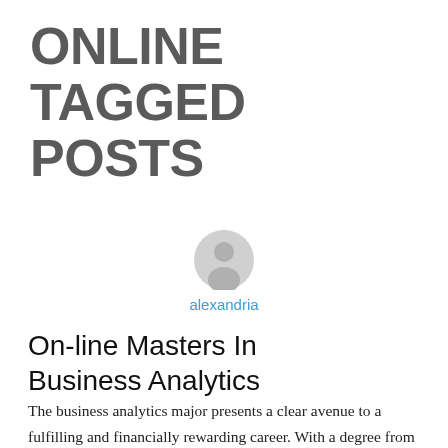ONLINE TAGGED POSTS
[Figure (illustration): Generic user avatar icon — grey circle with silhouette of a person's head and shoulders]
alexandria
On-line Masters In Business Analytics
The business analytics major presents a clear avenue to a fulfilling and financially rewarding career. With a degree from the Harbert College of Business, you will be able to turn out to be part of a world of pros who might help manage and analyze data and turn into